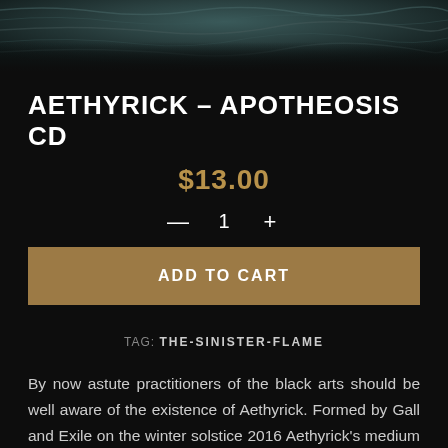[Figure (photo): Dark moody ocean/water texture photo used as hero banner image]
AETHYRICK – APOTHEOSIS CD
$13.00
— 1 +
ADD TO CART
TAG: THE-SINISTER-FLAME
By now astute practitioners of the black arts should be well aware of the existence of Aethyrick. Formed by Gall and Exile on the winter solstice 2016 Aethyrick's medium is black metal and their locale Finland but over the course of two visionary